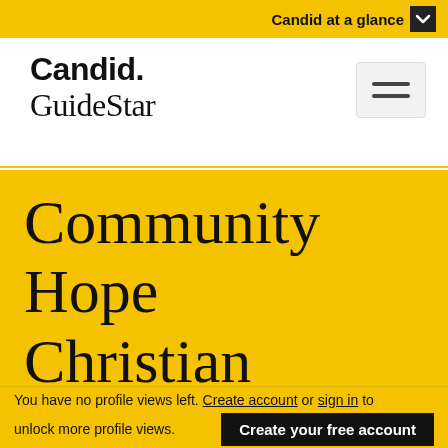Candid at a glance
Candid. GuideStar
Community Hope Christian Counseling and
You have no profile views left. Create account or sign in to unlock more profile views.
Create your free account